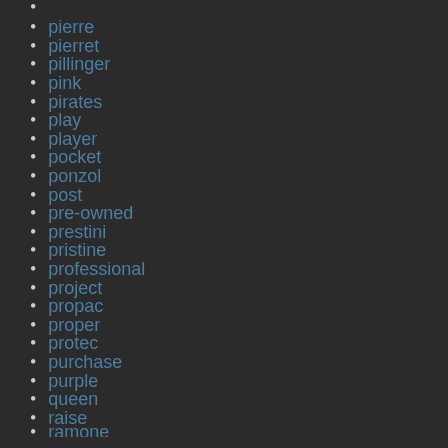pierre
pierret
pillinger
pink
pirates
play
player
pocket
ponzol
post
pre-owned
prestini
pristine
professional
project
propac
proper
protec
purchase
purple
queen
raise
ramone